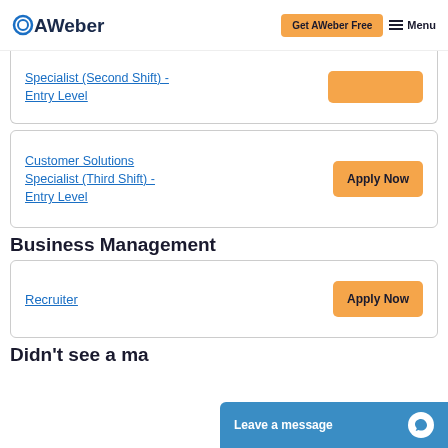AWeber | Get AWeber Free | Menu
Specialist (Second Shift) - Entry Level | Apply Now (partially visible)
Customer Solutions Specialist (Third Shift) - Entry Level | Apply Now
Business Management
Recruiter | Apply Now
Didn't see a ma...
Leave a message